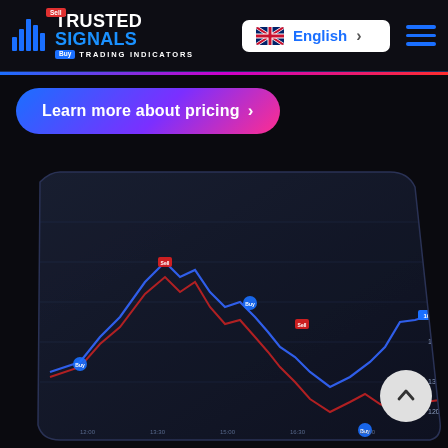[Figure (logo): Trusted Signals Trading Indicators logo with blue bar chart icon, Sell tag in red and Buy tag in blue]
[Figure (screenshot): Language selector button showing UK flag and 'English' text with arrow]
[Figure (infographic): Blue hamburger menu icon (three horizontal lines)]
[Figure (infographic): Gradient CTA button reading 'Learn more about pricing >']
[Figure (screenshot): Trading chart screenshot showing price action with red and blue signals on a dark background, with Sell and Buy markers and price scale on the right]
[Figure (infographic): Scroll-to-top circular button with upward chevron arrow]